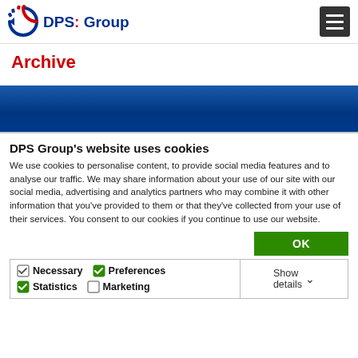DPS Group
Archive
[Figure (other): Blue gradient banner/hero image area]
DPS Group's website uses cookies
We use cookies to personalise content, to provide social media features and to analyse our traffic. We may share information about your use of our site with our social media, advertising and analytics partners who may combine it with other information that you've provided to them or that they've collected from your use of their services. You consent to our cookies if you continue to use our website.
OK
Necessary  Preferences  Statistics  Marketing  Show details